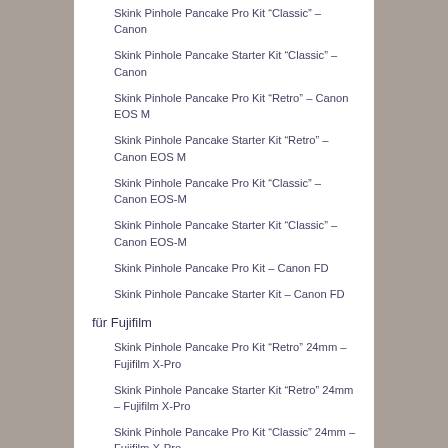Skink Pinhole Pancake Pro Kit “Classic” – Canon
Skink Pinhole Pancake Starter Kit “Classic” – Canon
Skink Pinhole Pancake Pro Kit “Retro” – Canon EOS M
Skink Pinhole Pancake Starter Kit “Retro” – Canon EOS M
Skink Pinhole Pancake Pro Kit “Classic” – Canon EOS-M
Skink Pinhole Pancake Starter Kit “Classic” – Canon EOS-M
Skink Pinhole Pancake Pro Kit – Canon FD
Skink Pinhole Pancake Starter Kit – Canon FD
für Fujifilm
Skink Pinhole Pancake Pro Kit “Retro” 24mm – Fujifilm X-Pro
Skink Pinhole Pancake Starter Kit “Retro” 24mm – Fujifilm X-Pro
Skink Pinhole Pancake Pro Kit “Classic” 24mm – Fujifilm X-Pro
Skink Pinhole Pancake Starter Kit “Classic” 24mm – Fujifilm X-Pro
für Hasselblad